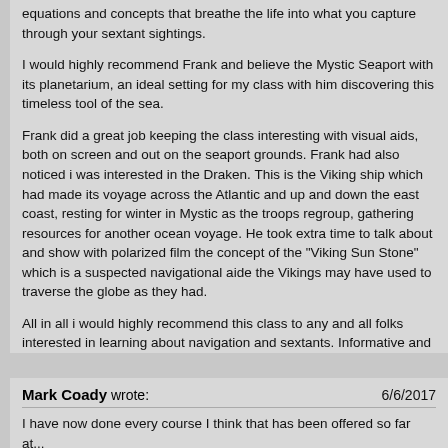equations and concepts that breathe the life into what you capture through your sextant sightings.
I would highly recommend Frank and believe the Mystic Seaport with its planetarium, an ideal setting for my class with him discovering this timeless tool of the sea.
Frank did a great job keeping the class interesting with visual aids, both on screen and out on the seaport grounds. Frank had also noticed i was interested in the Draken. This is the Viking ship which had made its voyage across the Atlantic and up and down the east coast, resting for winter in Mystic as the troops regroup, gathering resources for another ocean voyage. He took extra time to talk about and show with polarized film the concept of the "Viking Sun Stone" which is a suspected navigational aide the Vikings may have used to traverse the globe as they had.
All in all i would highly recommend this class to any and all folks interested in learning about navigation and sextants. Informative and digestible, but most of all useful to the point where i am comfortable with the instrument and have the formulas needed to continuing to set my sights on the horizon!!
I look forward to more classes to learn more from Frank and strengthen my understandings of celestial navigation!
Thank you!!!
John
Mark Coady wrote: 6/6/2017
I have now done every course I think that has been offered so far at...